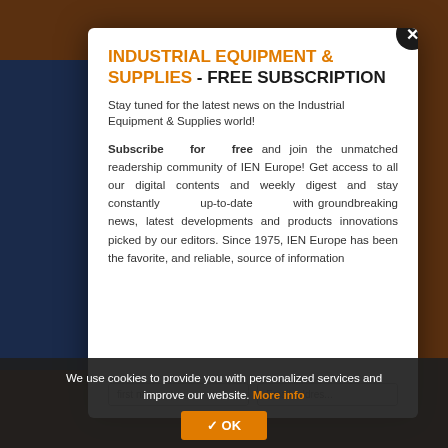INDUSTRIAL EQUIPMENT & SUPPLIES - FREE SUBSCRIPTION
Stay tuned for the latest news on the Industrial Equipment & Supplies world!
Subscribe for free and join the unmatched readership community of IEN Europe! Get access to all our digital contents and weekly digest and stay constantly up-to-date with groundbreaking news, latest developments and products innovations picked by our editors. Since 1975, IEN Europe has been the favorite, and reliable, source of information up with the latest technology, agree...
We use cookies to provide you with personalized services and improve our website. More info